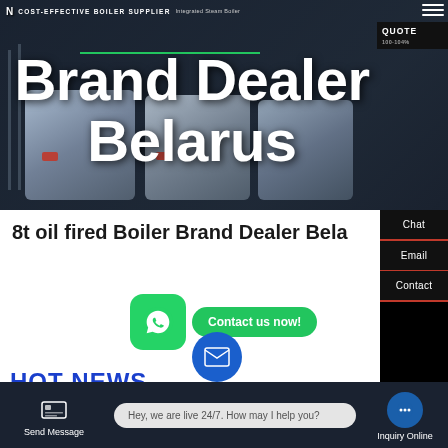COST-EFFECTIVE BOILER SUPPLIER
Brand Dealer Belarus
QUOTE
100-104%
8t oil fired Boiler Brand Dealer Belarus
Contact us now!
HOT NEWS
Chat
Email
Contact
Send Message
Hey, we are live 24/7. How may I help you?
Inquiry Online